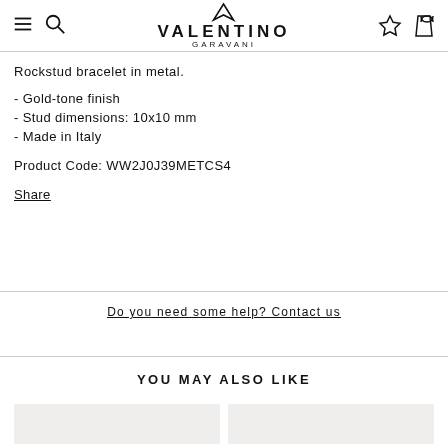VALENTINO GARAVANI
Rockstud bracelet in metal.
- Gold-tone finish
- Stud dimensions: 10x10 mm
- Made in Italy
Product Code: WW2J0J39METCS4
Share
Do you need some help? Contact us
YOU MAY ALSO LIKE
[Figure (photo): Product thumbnail placeholders for 'You may also like' section]